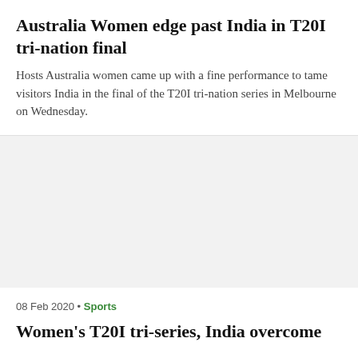Australia Women edge past India in T20I tri-nation final
Hosts Australia women came up with a fine performance to tame visitors India in the final of the T20I tri-nation series in Melbourne on Wednesday.
[Figure (photo): Grey placeholder image area]
08 Feb 2020 • Sports
Women's T20I tri-series, India overcome